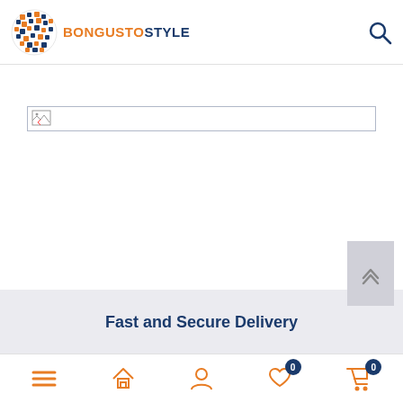BONGUSTOSTYLE
[Figure (photo): Broken image placeholder showing a small broken image icon inside a bordered rectangle]
Fast and Secure Delivery
[Figure (other): Bottom navigation bar with hamburger menu, home, account, wishlist (badge 0), and cart (badge 0) icons in orange]